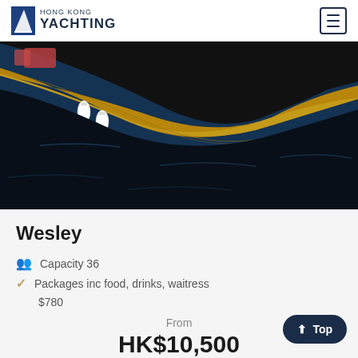Hong Kong Yachting
[Figure (photo): Close-up photo of a classic wooden yacht hull with yellow/teak wood and black hull, fenders visible, moored on deep blue water]
Wesley
Capacity 36
Packages inc food, drinks, waitress $780
From
HK$10,500